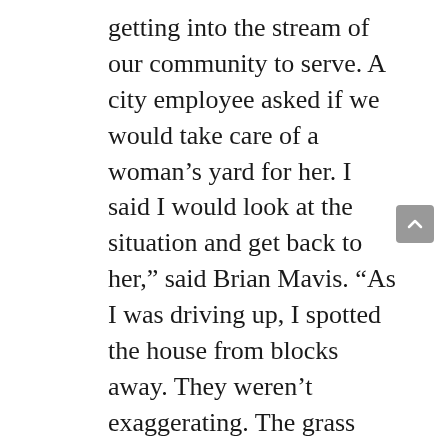getting into the stream of our community to serve. A city employee asked if we would take care of a woman's yard for her. I said I would look at the situation and get back to her," said Brian Mavis. "As I was driving up, I spotted the house from blocks away. They weren't exaggerating. The grass was almost as tall as I was. I knocked on the door and a woman in her young thirties answered. Standing next to her was a little girl. I learned that this woman had recently survived stage-four cancer, and she was taking care of the nine-year-old girl, who was in foster care. This woman was tearful and embarrassed about her yard, but she said her health prevented her from trying to take care of it.
"My heart broke for her, and I was happy that